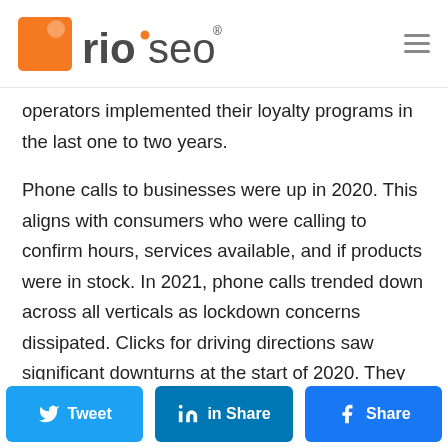rio seo
operators implemented their loyalty programs in the last one to two years.
Phone calls to businesses were up in 2020. This aligns with consumers who were calling to confirm hours, services available, and if products were in stock. In 2021, phone calls trended down across all verticals as lockdown concerns dissipated. Clicks for driving directions saw significant downturns at the start of 2020. They picked back up again and remained relatively steady throughout the
Twitter | LinkedIn | Facebook